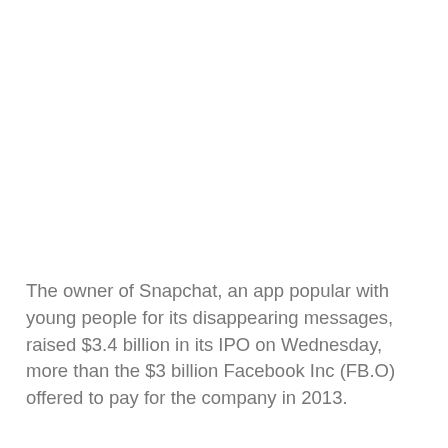The owner of Snapchat, an app popular with young people for its disappearing messages, raised $3.4 billion in its IPO on Wednesday, more than the $3 billion Facebook Inc (FB.O) offered to pay for the company in 2013.